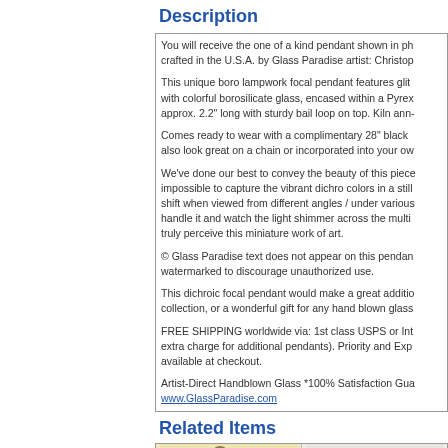Description
You will receive the one of a kind pendant shown in ph... crafted in the U.S.A. by Glass Paradise artist: Christop...

This unique boro lampwork focal pendant features glit... with colorful borosilicate glass, encased within a Pyrex... approx. 2.2" long with sturdy bail loop on top. Kiln ann-...

Comes ready to wear with a complimentary 28" black ... also look great on a chain or incorporated into your ow...

We've done our best to convey the beauty of this piece... impossible to capture the vibrant dichro colors in a still... shift when viewed from different angles / under various... handle it and watch the light shimmer across the multi... truly perceive this miniature work of art.

© Glass Paradise text does not appear on this pendan... watermarked to discourage unauthorized use.

This dichroic focal pendant would make a great additio... collection, or a wonderful gift for any hand blown glass...

FREE SHIPPING worldwide via: 1st class USPS or Int... extra charge for additional pendants). Priority and Exp... available at checkout.

Artist-Direct Handblown Glass *100% Satisfaction Gua... www.GlassParadise.com
Related Items
[Figure (photo): Two product photos of glass pendants/jewelry items shown side by side]